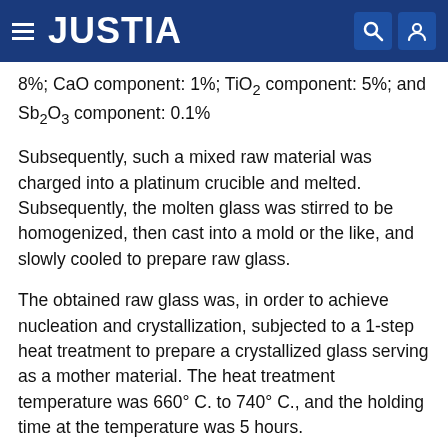JUSTIA
8%; CaO component: 1%; TiO2 component: 5%; and Sb2O3 component: 0.1%
Subsequently, such a mixed raw material was charged into a platinum crucible and melted. Subsequently, the molten glass was stirred to be homogenized, then cast into a mold or the like, and slowly cooled to prepare raw glass.
The obtained raw glass was, in order to achieve nucleation and crystallization, subjected to a 1-step heat treatment to prepare a crystallized glass serving as a mother material. The heat treatment temperature was 660° C. to 740° C., and the holding time at the temperature was 5 hours.
The prepared crystallized glass mother material was cut and ground so as to have shapes having 40 mm sides